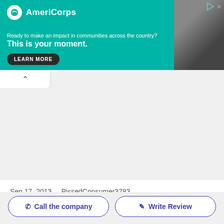[Figure (infographic): AmeriCorps advertisement banner with teal background. Logo with white circle icon and 'AmeriCorps' text. Text reads: 'Ready to make an impact in communities across the country? This is your moment.' with a 'LEARN MORE' button. Right side shows a photo of a person in dark clothing.]
Sep 17, 2013   PissedConsumer3783
Call the company
Write Review